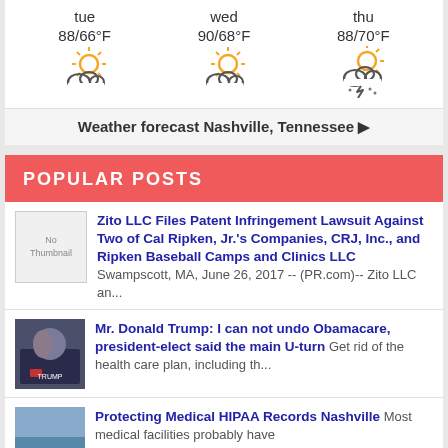[Figure (infographic): Weather forecast widget showing three days: tue 88/66°F partly cloudy, wed 90/68°F partly cloudy, thu 88/70°F thunderstorm]
Weather forecast Nashville, Tennessee ▶
POPULAR POSTS
Zito LLC Files Patent Infringement Lawsuit Against Two of Cal Ripken, Jr.'s Companies, CRJ, Inc., and Ripken Baseball Camps and Clinics LLC Swampscott, MA, June 26, 2017 -- (PR.com)-- Zito LLC an...
Mr. Donald Trump: I can not undo Obamacare, president-elect said the main U-turn Get rid of the health care plan, including th...
Protecting Medical HIPAA Records Nashville Most medical facilities probably have